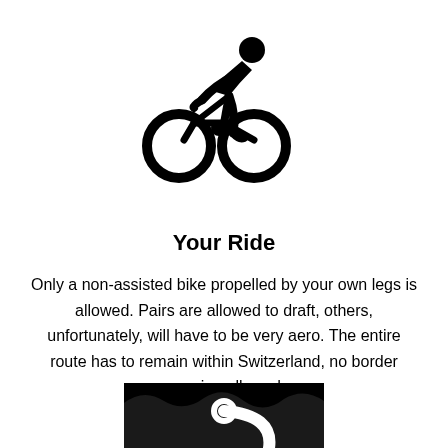[Figure (illustration): Black cyclist icon showing a person riding a bicycle, depicted in a simple bold silhouette style.]
Your Ride
Only a non-assisted bike propelled by your own legs is allowed. Pairs are allowed to draft, others, unfortunately, will have to be very aero. The entire route has to remain within Switzerland, no border crossing allowed.
[Figure (illustration): Black square icon with a white winding route/path symbol resembling an S-curve with circular endpoints, representing a cycling route.]